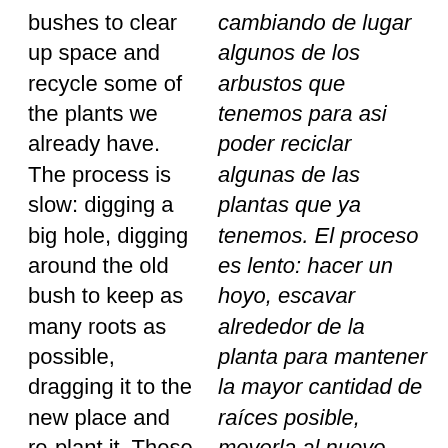bushes to clear up space and recycle some of the plants we already have. The process is slow: digging a big hole, digging around the old bush to keep as many roots as possible, dragging it to the new place and re-plant it. These bushes are old, so their roots are big and heavy (if you don't believe me ask
cambiando de lugar algunos de los arbustos que tenemos para asi poder reciclar algunas de las plantas que ya tenemos. El proceso es lento: hacer un hoyo, escavar alrededor de la planta para mantener la mayor cantidad de raíces posible, moverla al nuevo lugar, y re-plantarla. Estas plantas son muy antiguas, asi que las raíces son grandes y pesadas (si no me creen